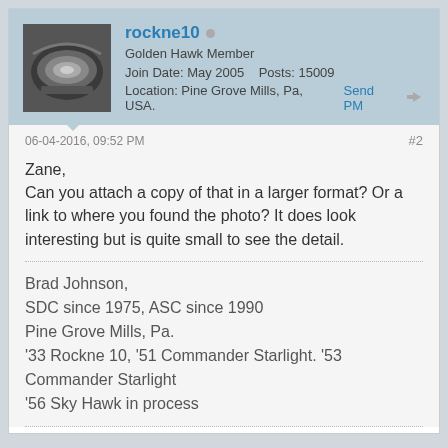rockne10 | Golden Hawk Member | Join Date: May 2005 | Posts: 15009 | Location: Pine Grove Mills, Pa, USA.
06-04-2016, 09:52 PM
#2
Zane,
Can you attach a copy of that in a larger format? Or a link to where you found the photo? It does look interesting but is quite small to see the detail.
Brad Johnson,
SDC since 1975, ASC since 1990
Pine Grove Mills, Pa.
'33 Rockne 10, '51 Commander Starlight. '53 Commander Starlight
'56 Sky Hawk in process